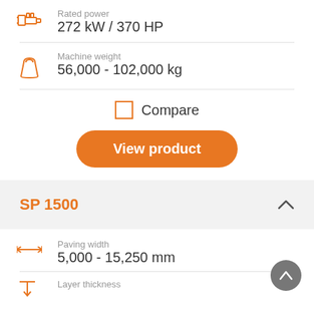Rated power: 272 kW / 370 HP
Machine weight: 56,000 - 102,000 kg
Compare
View product
SP 1500
Paving width: 5,000 - 15,250 mm
Layer thickness